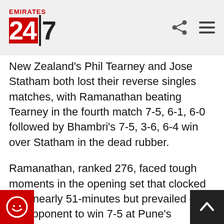Emirates 24|7
New Zealand's Phil Tearney and Jose Statham both lost their reverse singles matches, with Ramanathan beating Tearney in the fourth match 7-5, 6-1, 6-0 followed by Bhambri's 7-5, 3-6, 6-4 win over Statham in the dead rubber.
Ramanathan, ranked 276, faced tough moments in the opening set that clocked in at nearly 51-minutes but prevailed over his opponent to win 7-5 at Pune's Balewadi Sports Complex before taking the next two sets in a 6-1, 6-0 rout.
India lost the doubles rubber on Saturday after New Zealand's Artem Sitak and Michael Venus overpowered Leander Paes and Vishnu Vardhan to...